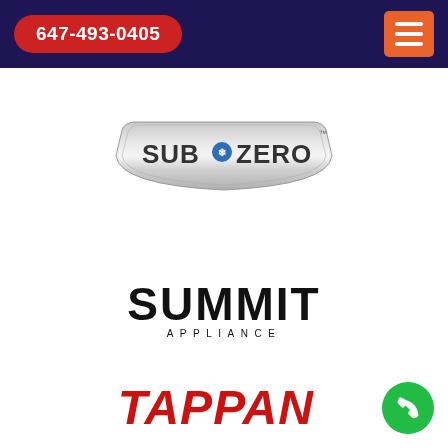647-493-0405
[Figure (logo): Sub-Zero brand logo on a metallic silver badge-shaped background with the text SUB·ZERO in bold metallic letters and a blue snowflake/gear icon between the words]
[Figure (logo): Summit Appliance logo with large bold black block letters SUMMIT arched at top and APPLIANCE in small spaced capitals below]
[Figure (logo): Tappan brand logo in bold italic red letters on white background]